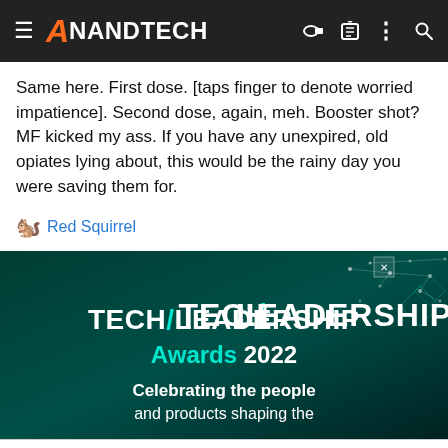AnandTech
Same here. First dose. [taps finger to denote worried impatience]. Second dose, again, meh. Booster shot? MF kicked my ass. If you have any unexpired, old opiates lying about, this would be the rainy day you were saving them for.
🐿 Red Squirrel
[Figure (screenshot): Tech/Leadership Awards 2022 advertisement banner with teal/dark green background and network dot pattern. Text reads: TECH/LEADERSHIP Awards 2022 Celebrating the people and products shaping the...]
This site uses cookies to help personalise content, tailor your experience and to keep you logged in if you register. By continuing to use this site, you are consenting to our use of cookies.
Leesburg OPEN 10AM–7PM